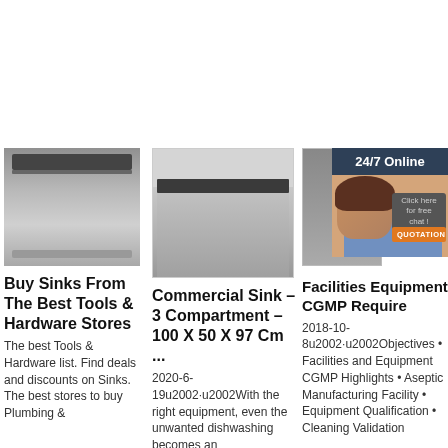[Figure (other): Orange 'Get Price' button in upper right area]
[Figure (photo): Stainless steel dishwasher, front view, grey background]
Buy Sinks From The Best Tools & Hardware Stores
The best Tools & Hardware list. Find deals and discounts on Sinks. The best stores to buy Plumbing &
[Figure (photo): Commercial stainless steel sink in kitchen setting with white tile wall]
Commercial Sink – 3 Compartment – 100 X 50 X 97 Cm ...
2020-6-19u2002·u2002With the right equipment, even the unwanted dishwashing becomes an
[Figure (photo): Partial dishwasher image with 24/7 Online customer service chat overlay showing a woman with headset]
Facilities Equipment CGMP Require
2018-10-8u2002·u2002Objectives • Facilities and Equipment CGMP Highlights • Aseptic Manufacturing Facility • Equipment Qualification • Cleaning Validation